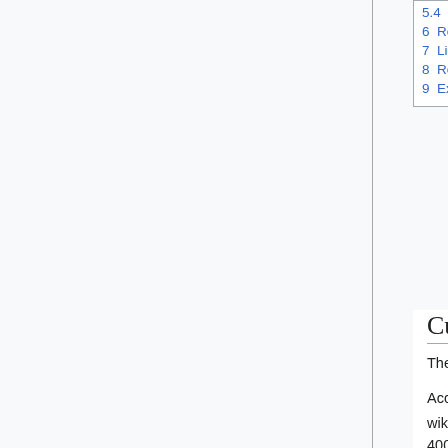5.4 Recursive
6 Restoring wikis
7 Links warrior project
8 References
9 External links
Current status
The total number of MediaWiki wikis is unknown, but some estimates exist.
According to WikiApiary, which is the most updated database, there are 21,139 independent wikis (1,718 are semantic) and 4,819 in wikifarms as of 2018-08-02.[1] But it doesn't include 400,000+ Wikia wikis, and the independent list coverage can be improved for sure.
According to Pavlo's list generated in